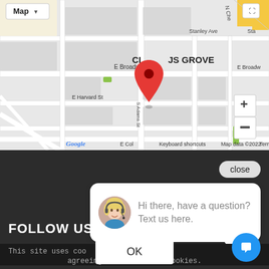[Figure (map): Google Maps screenshot showing Citrus Grove area with a red location pin marker, street labels including E Broadway, E Harvard St, Carlton Dr, Orange Grove Ave, S Adams St, Stanley Ave, and zoom controls (+/-). Map type button and fullscreen button visible. Google logo and attribution bar at bottom.]
close
[Figure (illustration): Chat popup bubble with blonde female customer service agent avatar wearing headset, speech bubble containing text: Hi there, have a question? Text us here.]
Hi there, have a question? Text us here.
FOLLOW US
This site uses coo... agreeing to our use of cookies.
OK